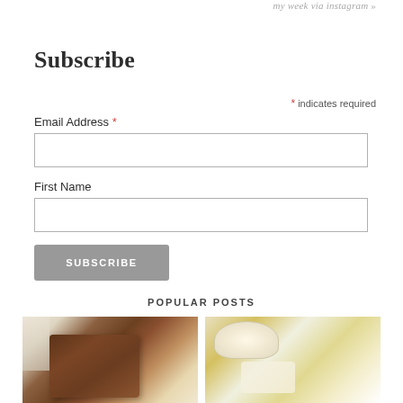my week via instagram »
Subscribe
* indicates required
Email Address *
First Name
SUBSCRIBE
POPULAR POSTS
[Figure (photo): Photo of a chocolate brownie or bread loaf with a glass of milk on the left]
[Figure (photo): Photo of mini cheesecake cups with toppings on yellow plates]